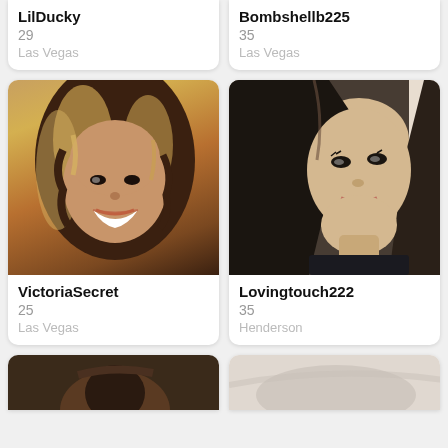LilDucky
29
Las Vegas
Bombshellb225
35
Las Vegas
[Figure (photo): Portrait photo of VictoriaSecret profile]
VictoriaSecret
25
Las Vegas
[Figure (photo): Portrait photo of Lovingtouch222 profile]
Lovingtouch222
35
Henderson
[Figure (photo): Partial bottom photo, left card]
[Figure (photo): Partial bottom photo, right card]